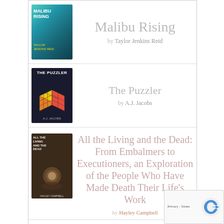Malibu Rising
by Taylor Jenkins Reid
The Puzzler
by A.J. Jacobs
All the Living and the Dead: From Embalmers to Executioners, an Exploration of the People Who Have Made Death Their Life's Work
by Hayley Campbell